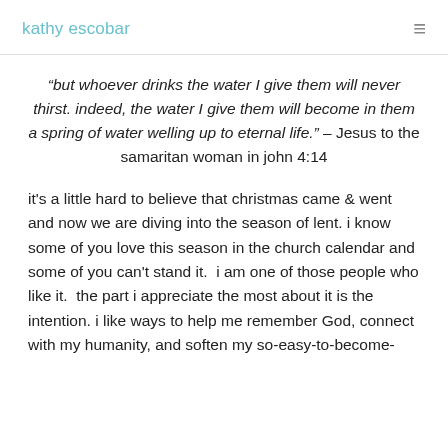kathy escobar
“but whoever drinks the water I give them will never thirst. indeed, the water I give them will become in them a spring of water welling up to eternal life.” – Jesus to the samaritan woman in john 4:14
it's a little hard to believe that christmas came & went and now we are diving into the season of lent. i know some of you love this season in the church calendar and some of you can't stand it.  i am one of those people who like it.  the part i appreciate the most about it is the intention. i like ways to help me remember God, connect with my humanity, and soften my so-easy-to-become-